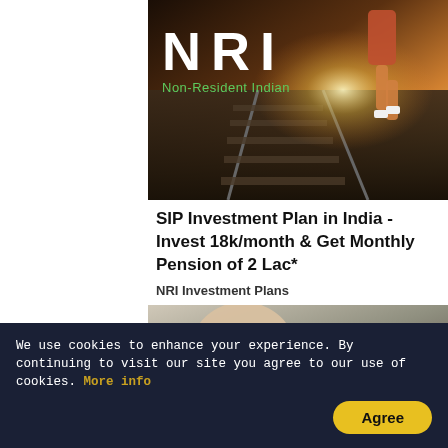[Figure (photo): NRI Non-Resident Indian advertisement image showing a runner on railway tracks with bright sunlight, bold white NRI text and green Non-Resident Indian subtitle]
SIP Investment Plan in India - Invest 18k/month & Get Monthly Pension of 2 Lac*
NRI Investment Plans
[Figure (photo): Medical/dental procedure image showing a bald patient being treated by a gloved practitioner, with overlay text '10 Stunning Asian Ac...']
We use cookies to enhance your experience. By continuing to visit our site you agree to our use of cookies. More info
Agree